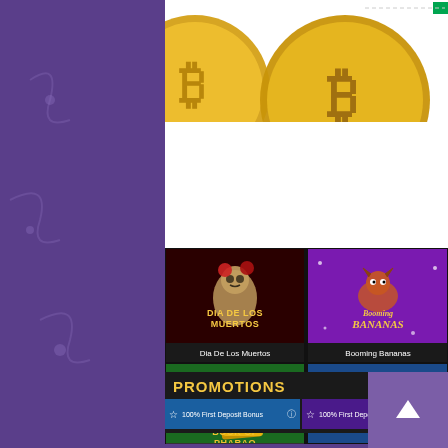[Figure (screenshot): Casino website screenshot showing Bitcoin banner at top, a 2x2 grid of slot game thumbnails (Dia De Los Muertos, Booming Bananas, Book of Pharao, Geisha), and a Promotions section at the bottom with promotional offer cards.]
Dia De Los Muertos
Booming Bananas
Book of Pharao
Geisha
PROMOTIONS
100% First Deposit Bonus